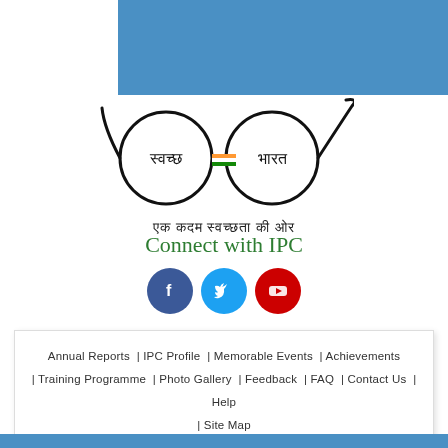[Figure (illustration): Blue banner bar at top right of page]
[Figure (logo): Swachh Bharat logo with round glasses shapes containing Hindi text 'स्वच्छ' and 'भारत', and tagline 'एक कदम स्वच्छता की ओर']
Connect with IPC
[Figure (infographic): Three social media icons: Facebook (blue circle with f), Twitter (blue circle with bird), YouTube (red circle with play button)]
Annual Reports  | IPC Profile  | Memorable Events  | Achievements  | Training Programme  | Photo Gallery  | Feedback  | FAQ  | Contact Us  | Help  | Site Map